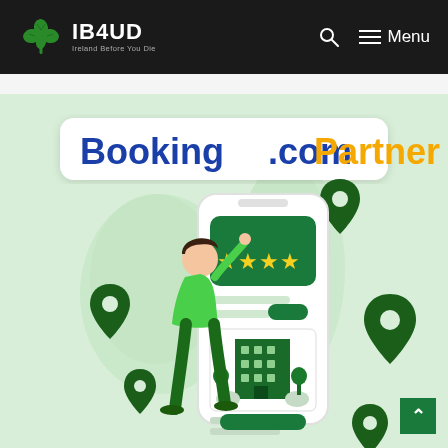IB4UD - Ireland Before You Die
[Figure (illustration): Booking.com Partner promotional illustration showing a person giving a 5-star rating on a smartphone app, with map location pins over Ireland/UK, and a hotel building displayed on the phone screen. Text reads 'Booking.com Partner' with Booking in dark blue and Partner in yellow.]